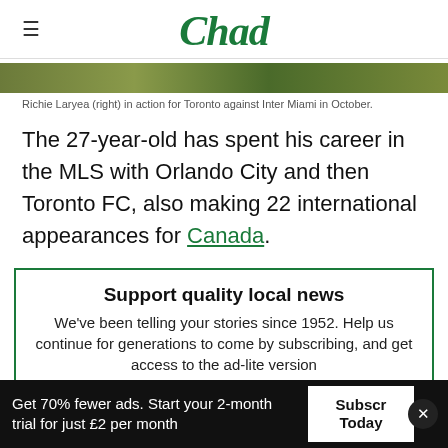Chad
[Figure (photo): A photo strip showing Richie Laryea in action for Toronto against Inter Miami in October (appears as a green/olive landscape strip).]
Richie Laryea (right) in action for Toronto against Inter Miami in October.
The 27-year-old has spent his career in the MLS with Orlando City and then Toronto FC, also making 22 international appearances for Canada.
Support quality local news
We've been telling your stories since 1952. Help us continue for generations to come by subscribing, and get access to the ad-lite version
Get 70% fewer ads. Start your 2-month trial for just £2 per month   Subscribe Today   ×